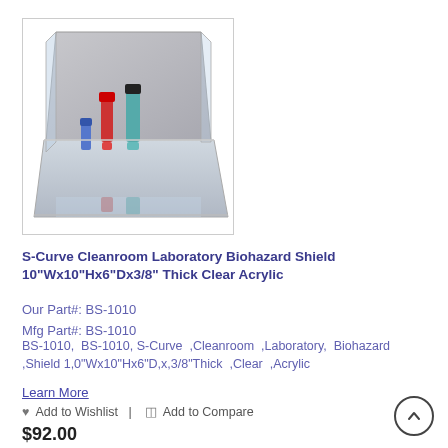[Figure (photo): S-Curve Cleanroom Laboratory Biohazard Shield product photo showing a clear acrylic L-shaped shield with laboratory vials inside]
S-Curve Cleanroom Laboratory Biohazard Shield 10"Wx10"Hx6"Dx3/8" Thick Clear Acrylic
Our Part#: BS-1010
Mfg Part#: BS-1010
BS-1010,  BS-1010, S-Curve ,Cleanroom ,Laboratory,  Biohazard ,Shield 1,0"Wx10"Hx6"D,x,3/8"Thick ,Clear ,Acrylic
Learn More
♥ Add to Wishlist  |  ⊞ Add to Compare
$92.00